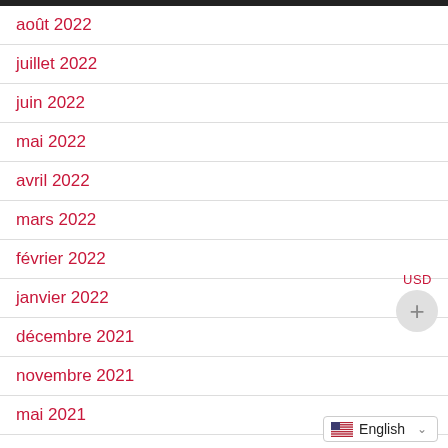août 2022
juillet 2022
juin 2022
mai 2022
avril 2022
mars 2022
février 2022
janvier 2022
décembre 2021
novembre 2021
mai 2021
USD
English